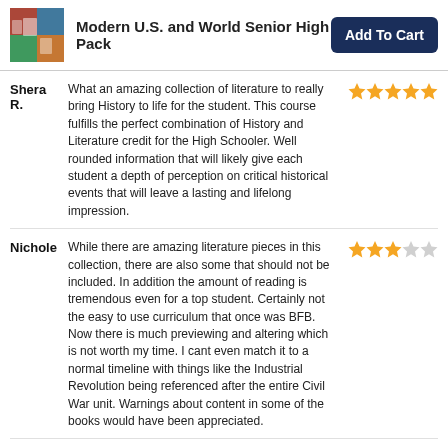Modern U.S. and World Senior High Pack
Shera R. — What an amazing collection of literature to really bring History to life for the student. This course fulfills the perfect combination of History and Literature credit for the High Schooler. Well rounded information that will likely give each student a depth of perception on critical historical events that will leave a lasting and lifelong impression. [5 stars]
Nichole — While there are amazing literature pieces in this collection, there are also some that should not be included. In addition the amount of reading is tremendous even for a top student. Certainly not the easy to use curriculum that once was BFB. Now there is much previewing and altering which is not worth my time. I cant even match it to a normal timeline with things like the Industrial Revolution being referenced after the entire Civil War unit. Warnings about content in some of the books would have been appreciated. [3 stars]
Marci — This is a 11/12 grade level class, but I found that if you did all the reading and work you could easily take 2 years to cover and complete it all. I did it with 2 9th graders and an 11th grader. I opted to skip some of the books depending on the student's frame. That said, it's all very good content. I don't agree that the [4 stars]